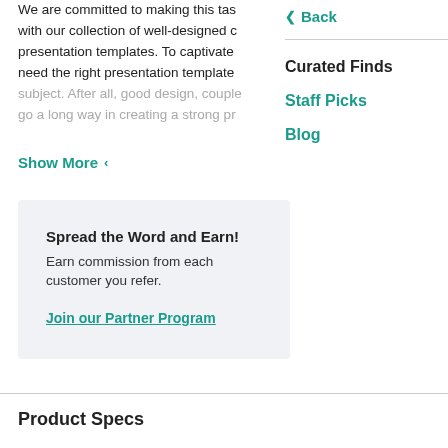We are committed to making this ta... with our collection of well-designed c... presentation templates. To captivate need the right presentation template subject. After all, good design, couple go a long way in creating a strong pr...
Show More
< Back
Curated Finds
Staff Picks
Blog
Spread the Word and Earn!
Earn commission from each customer you refer.
Join our Partner Program
Product Specs